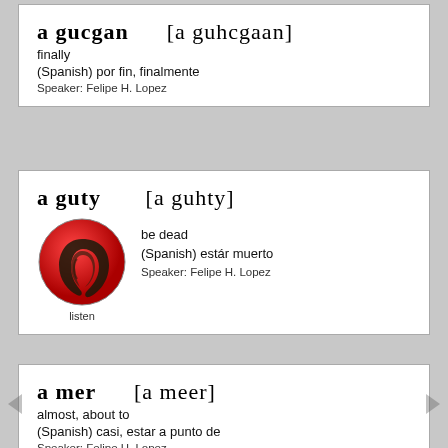a gucgan  [a guhcgaan]
finally
(Spanish) por fin, finalmente
Speaker: Felipe H. Lopez
a guty   [a guhty]
be dead
(Spanish) estár muerto
Speaker: Felipe H. Lopez
[Figure (illustration): Red circular button with an ear icon, labeled 'listen']
a mer   [a meer]
almost, about to
(Spanish) casi, estar a punto de
Speaker: Felipe H. Lopez